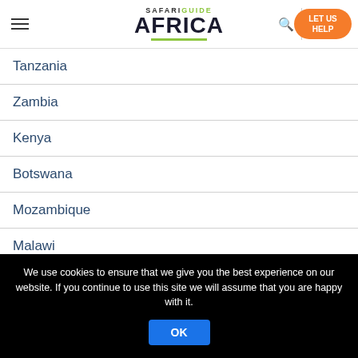Safari Guide Africa — LET US HELP
Tanzania
Zambia
Kenya
Botswana
Mozambique
Malawi
Mauritius
We use cookies to ensure that we give you the best experience on our website. If you continue to use this site we will assume that you are happy with it.